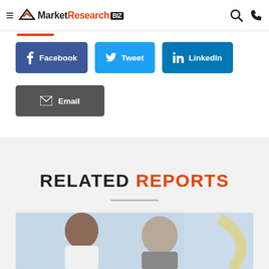MarketResearch.biz
[Figure (screenshot): Social share buttons: Facebook, Tweet, LinkedIn, Email]
RELATED REPORTS
[Figure (photo): Photo of a healthcare professional with an elderly patient]